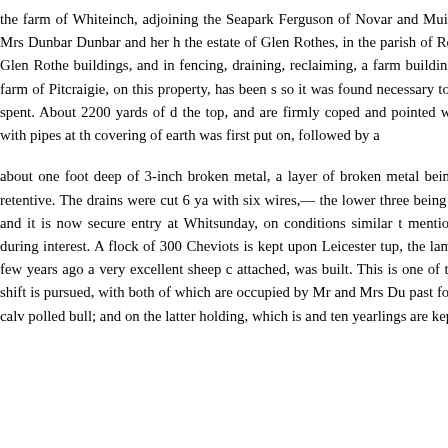the farm of Whiteinch, adjoining the Seapark Ferguson of Novar and Muirton. Seapark con about 12 acres. Mrs Dunbar Dunbar and her h the estate of Glen Rothes, in the parish of Rot been made on both Kinloss and Glen Rothe buildings, and in fencing, draining, reclaiming, a farm buildings are almost all new, and have b farm of Pitcraigie, on this property, has been s so it was found necessary to make a conside about £350 were spent. About 2200 yards of d the top, and are firmly coped and pointed with drained. The drains were laid with pipes at th covering of earth was first put on, followed by a
about one foot deep of 3-inch broken metal, a layer of broken metal being to facilitate the abs is stiff and retentive. The drains were cut 6 ya with six wires,— the lower three being No. 7 a on the farm of Pitcraigie, and it is now secure entry at Whitsunday, on conditions similar t mentioned, that with regard to building during interest. A flock of 300 Cheviots is kept upon Leicester tup, the lambs being usually sold for each. A few years ago a very excellent sheep c attached, was built. This is one of the most u property the six-course shift is pursued, with both of which are occupied by Mr and Mrs Du past four years. On the former, about ten calv polled bull; and on the latter holding, which is and ten yearlings are kept in open courts. Mrs